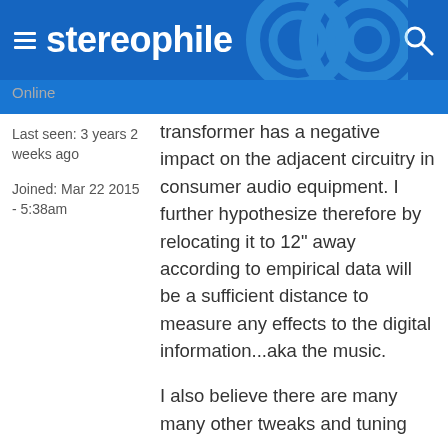stereophile
Online
Last seen: 3 years 2 weeks ago
Joined: Mar 22 2015 - 5:38am
transformer has a negative impact on the adjacent circuitry in consumer audio equipment. I further hypothesize therefore by relocating it to 12" away according to empirical data will be a sufficient distance to measure any effects to the digital information...aka the music.
I also believe there are many many other tweaks and tuning